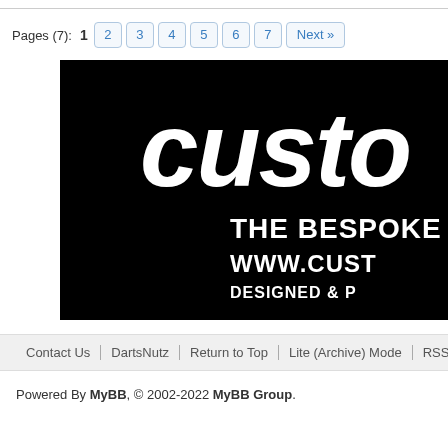Pages (7): 1 2 3 4 5 6 7 Next »
[Figure (photo): Black background advertisement image showing 'custo' in large bold italic white text, 'THE BESPOKE DA' in bold white text, 'WWW.CUST' in bold white text, 'DESIGNED & P' in bold white text]
Contact Us   DartsNutz   Return to Top   Lite (Archive) Mode   RSS Syndication
Powered By MyBB, © 2002-2022 MyBB Group.